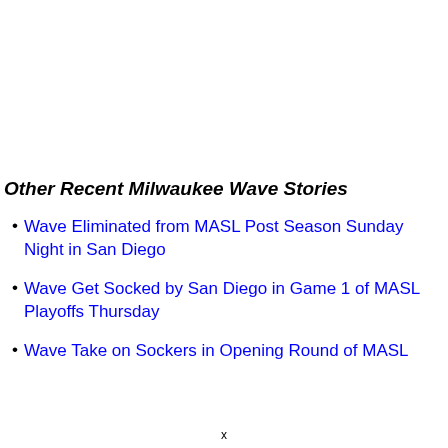Other Recent Milwaukee Wave Stories
Wave Eliminated from MASL Post Season Sunday Night in San Diego
Wave Get Socked by San Diego in Game 1 of MASL Playoffs Thursday
Wave Take on Sockers in Opening Round of MASL
x